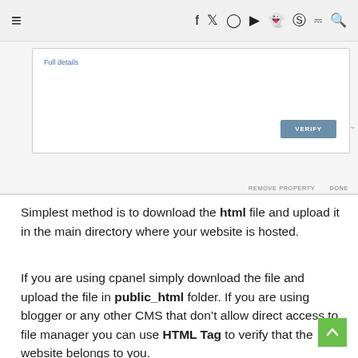≡  f y ☆ ▶ 👻 ⑀ )))  🔍
[Figure (screenshot): A web UI panel showing a 'Full details' link and a 'VERIFY' button, with 'REMOVE PROPERTY' and 'DONE' options below.]
Simplest method is to download the html file and upload it in the main directory where your website is hosted.
If you are using cpanel simply download the file and upload the file in public_html folder. If you are using blogger or any other CMS that don't allow direct access to file manager you can use HTML Tag to verify that the website belongs to you.